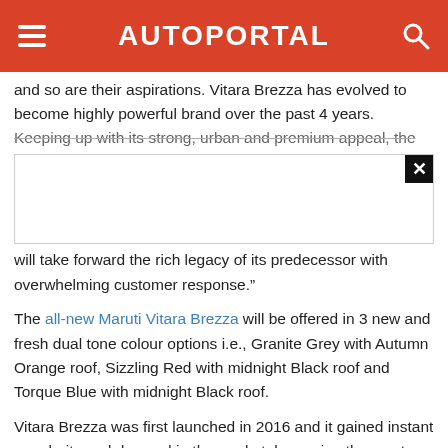AUTOPORTAL
and so are their aspirations. Vitara Brezza has evolved to become highly powerful brand over the past 4 years. Keeping up with its strong, urban and premium appeal, the
[Figure (other): Advertisement banner with close button (X)]
will take forward the rich legacy of its predecessor with overwhelming customer response."
The all-new Maruti Vitara Brezza will be offered in 3 new and fresh dual tone colour options i.e., Granite Grey with Autumn Orange roof, Sizzling Red with midnight Black roof and Torque Blue with midnight Black roof.
Vitara Brezza was first launched in 2016 and it gained instant popularity and demand in the market, becoming the most awarded compact SUV. It catapulted Maruti Suzuki's position as a leader in Utility Vehicle category. The Brezza SUV's popularity is known from the fact that within four years of its launch, more than 500,000 Brezza units have been sold.